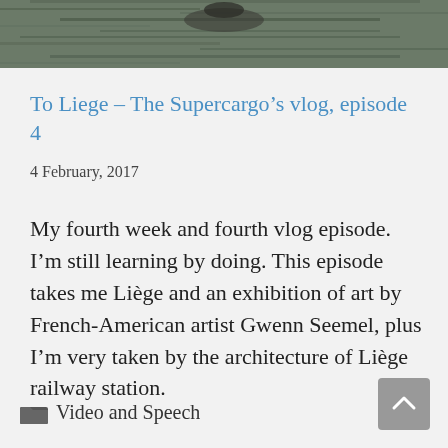[Figure (photo): Partial photograph of water surface with reflections, cropped at top of page]
To Liege – The Supercargo's vlog, episode 4
4 February, 2017
My fourth week and fourth vlog episode. I'm still learning by doing. This episode takes me Liège and an exhibition of art by French-American artist Gwenn Seemel, plus I'm very taken by the architecture of Liège railway station.
Video and Speech